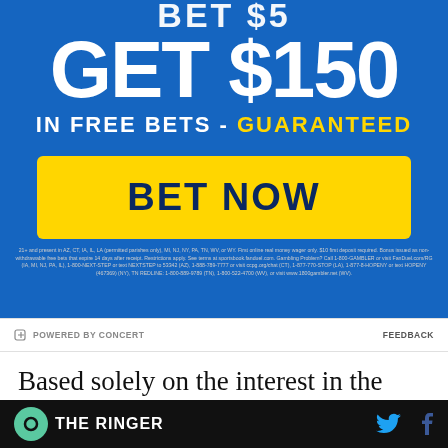[Figure (infographic): FanDuel Sportsbook advertisement: 'BET $5 GET $150 IN FREE BETS - GUARANTEED' with a yellow 'BET NOW' button on blue background]
21+ and present in AZ, CT, IA, IL, LA (permitted parishes only), MI, NJ, NY, PA, TN, WV, or WY. First online real money wager only. $10 first deposit required. Bonus issued as non-withdrawable free bets that expire 14 days after receipt. Restrictions apply. See terms at sportsbook.fanduel.com. Gambling Problem? Call 1-800-GAMBLER or visit FanDuel.com/RG (IA, MI, NJ, PA, IL, 1-800-NEXT-STEP or text NEXTSTEP to 53342 (AZ), 1-888-789-7777 or visit ccpg.org/chat (CT), 1-877-770-STOP (LA), 1-877-8-HOPENY or text HOPENY (467369) (NY), TN REDLINE: 1-800-889-9789 (TN), 1-800-522-4700 (WV), or visit www.1800gambler.net (WV).
⚡ POWERED BY CONCERT
FEEDBACK
Based solely on the interest in the actual games, the NFL should have much higher engagement in
THE RINGER